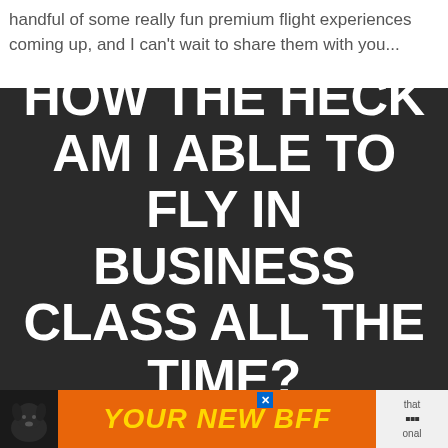handful of some really fun premium flight experiences coming up, and I can't wait to share them with you...
[Figure (other): Dark background image with large bold white text reading: HOW THE HECK AM I ABLE TO FLY IN BUSINESS CLASS ALL THE TIME? with smaller white text at bottom: Subscribe to my mailing list and and I'll share]
[Figure (other): Advertisement banner with orange background showing a dog photo on the left, bold italic yellow text YOUR NEW BFF in the center, and a close button (x) on the right. Partially overlapping the main image.]